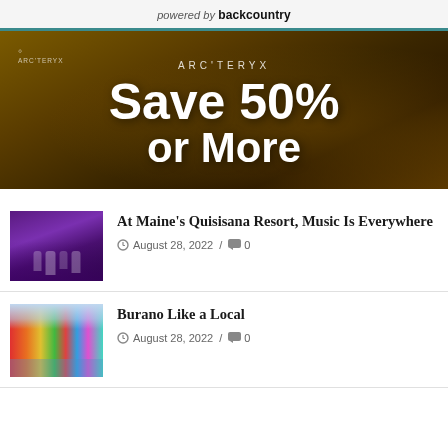powered by backcountry
[Figure (photo): Arc'teryx advertisement showing golden/brown outdoor jacket with white text 'ARC'TERYX Save 50% or More' on dark background]
[Figure (photo): Theater performers on stage for article about Maine's Quisisana Resort]
At Maine’s Quisisana Resort, Music Is Everywhere
August 28, 2022 / 0
[Figure (photo): Colorful buildings along canal in Burano, Italy]
Burano Like a Local
August 28, 2022 / 0